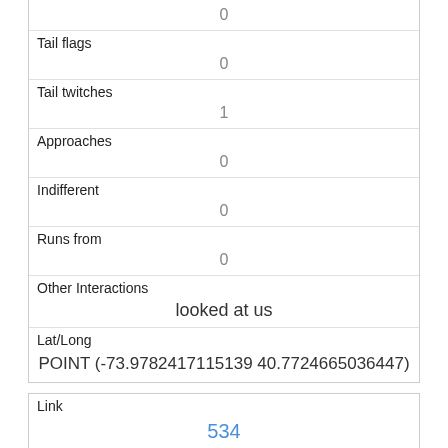| 0 |
| Tail flags | 0 |
| Tail twitches | 1 |
| Approaches | 0 |
| Indifferent | 0 |
| Runs from | 0 |
| Other Interactions | looked at us |
| Lat/Long | POINT (-73.9782417115139 40.7724665036447) |
| Link | 534 |
| rowid | 534 |
| longitude |  |